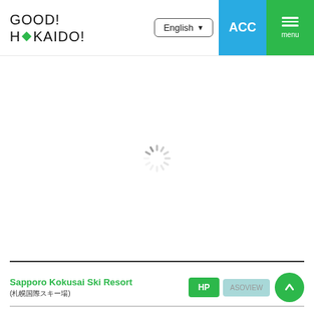[Figure (logo): GOOD! HOKKAIDO! logo with green diamond shape replacing the 'A' in HOKKAIDO]
English (language selector dropdown)
ACC (accessibility button, blue background)
menu (hamburger menu button, green background)
[Figure (other): Loading spinner (circular dashed spinner icon) in the center of the main content area]
Sapporo Kokusai Ski Resort (札幌国際スキー場)
HP | ASOVIEW | (up arrow button)
Sapporo Teine (サッポロテイネ)
HP | ASOVIEW | Jalan